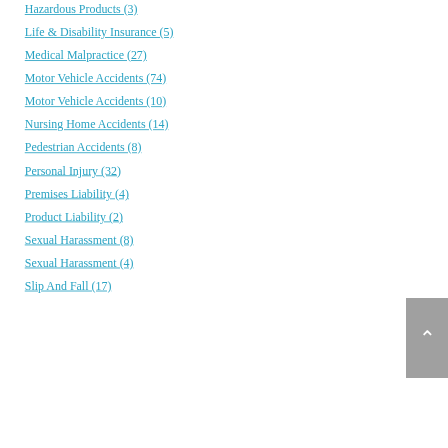Hazardous Products (3)
Life & Disability Insurance (5)
Medical Malpractice (27)
Motor Vehicle Accidents (74)
Motor Vehicle Accidents (10)
Nursing Home Accidents (14)
Pedestrian Accidents (8)
Personal Injury (32)
Premises Liability (4)
Product Liability (2)
Sexual Harassment (8)
Sexual Harassment (4)
Slip And Fall (17)